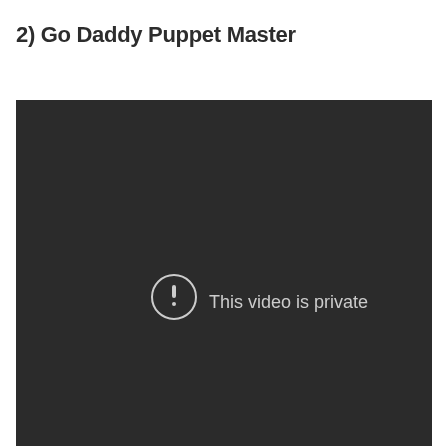2) Go Daddy Puppet Master
[Figure (screenshot): A dark video player embed showing a 'This video is private' error message with a circle-exclamation icon in the center of the player.]